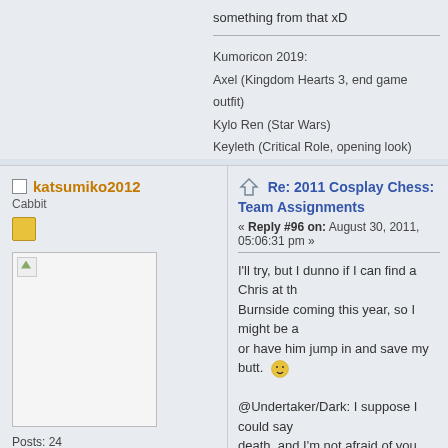something from that xD
Kumoricon 2019:
Axel (Kingdom Hearts 3, end game outfit)
Kylo Ren (Star Wars)
Keyleth (Critical Role, opening look)
katsumiko2012
Cabbit
Posts: 24
Re: 2011 Cosplay Chess: Team Assignments
« Reply #96 on: August 30, 2011, 05:06:31 pm »
I'll try, but I dunno if I can find a Chris at th... Burnside coming this year, so I might be a... or have him jump in and save my butt.
@Undertaker/Dark: I suppose I could say... death, and I'm not afraid of you either!"
As for Wheatley being my chessmaster....
KumoriCon '11- Claire Redfield -Resident Evil: C